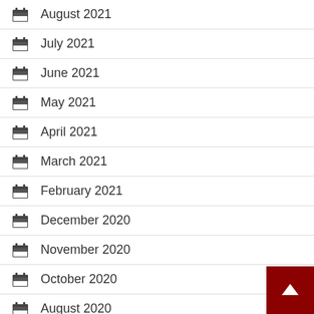August 2021
July 2021
June 2021
May 2021
April 2021
March 2021
February 2021
December 2020
November 2020
October 2020
August 2020
July 2020
June 2020